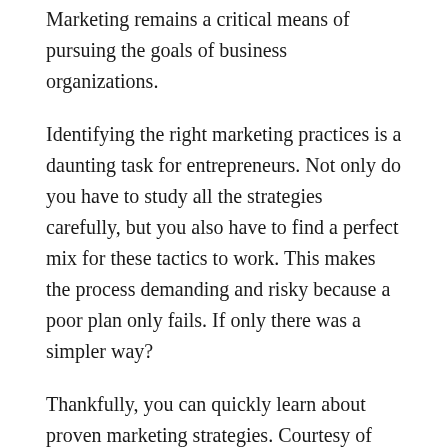Marketing remains a critical means of pursuing the goals of business organizations.
Identifying the right marketing practices is a daunting task for entrepreneurs. Not only do you have to study all the strategies carefully, but you also have to find a perfect mix for these tactics to work. This makes the process demanding and risky because a poor plan only fails. If only there was a simpler way?
Thankfully, you can quickly learn about proven marketing strategies. Courtesy of ClickFunnels' revolutionary co-founder and Head of Marketing, Russell Brunson, you can learn marketing in a short period. He has prepared a podcast known as Marketing In Your Car that offers valuable insights and